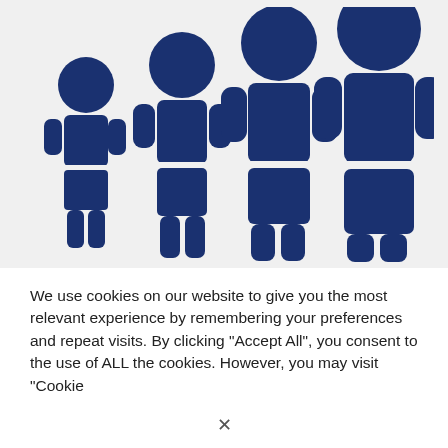[Figure (illustration): Four dark blue human silhouette icons arranged in ascending height order from left to right, representing people from child to adult size. Each figure has a round head, body, arms, and legs rendered in a flat icon style on a light gray background.]
We use cookies on our website to give you the most relevant experience by remembering your preferences and repeat visits. By clicking "Accept All", you consent to the use of ALL the cookies. However, you may visit "Cookie